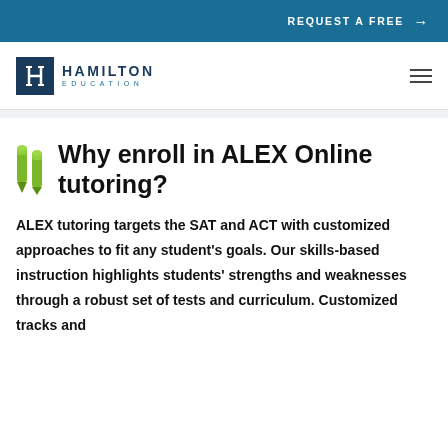REQUEST A FREE →
[Figure (logo): Hamilton Education logo with stylized H icon in dark blue box and text HAMILTON EDUCATION]
Why enroll in ALEX Online tutoring?
ALEX tutoring targets the SAT and ACT with customized approaches to fit any student's goals. Our skills-based instruction highlights students' strengths and weaknesses through a robust set of tests and curriculum. Customized tracks and